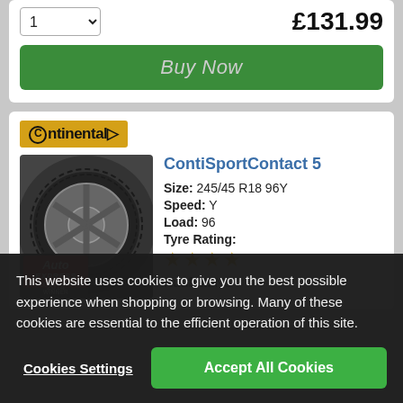1   £131.99
Buy Now
[Figure (logo): Continental tyre brand logo on golden/amber background with horse symbol]
ContiSportContact 5
[Figure (photo): Continental ContiSportContact 5 tyre with Auto Express Product Awards Winner 2014 badge]
Size: 245/45 R18 96Y
Speed: Y
Load: 96
Tyre Rating:
★★★★ (4 stars)
Runflat: No
This website uses cookies to give you the best possible experience when shopping or browsing. Many of these cookies are essential to the efficient operation of this site.
Cookies Settings
Accept All Cookies